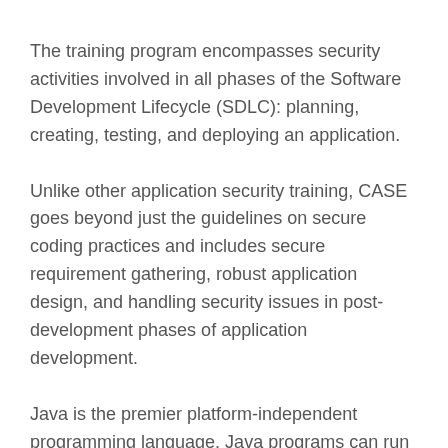The training program encompasses security activities involved in all phases of the Software Development Lifecycle (SDLC): planning, creating, testing, and deploying an application.
Unlike other application security training, CASE goes beyond just the guidelines on secure coding practices and includes secure requirement gathering, robust application design, and handling security issues in post-development phases of application development.
Java is the premier platform-independent programming language. Java programs can run on Windows, Linux, or Macintosh. Beyond that, Java is the programming language for Java apps. These facts make Java an important programming language. Secure Java